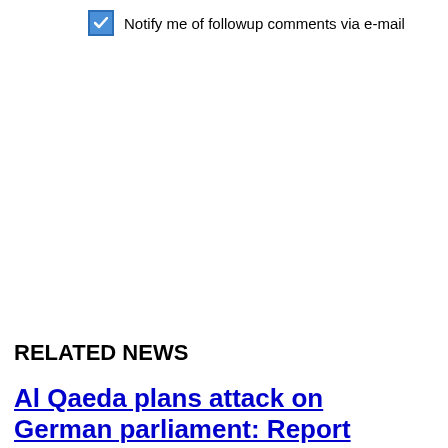Notify me of followup comments via e-mail
RELATED NEWS
Al Qaeda plans attack on German parliament: Report